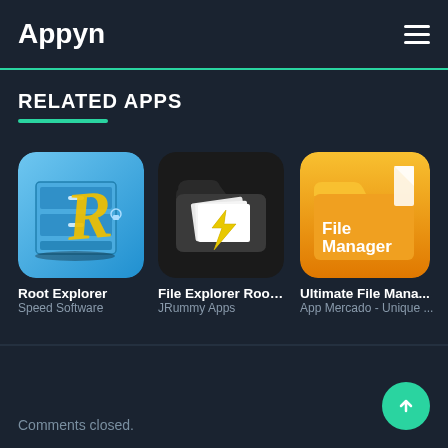Appyn
RELATED APPS
[Figure (screenshot): Root Explorer app icon - blue file cabinet with yellow R letter]
Root Explorer
Speed Software
[Figure (screenshot): File Explorer Root app icon - black folder with yellow lightning bolt]
File Explorer Root ...
JRummy Apps
[Figure (screenshot): Ultimate File Manager app icon - orange/yellow folder with File Manager text]
Ultimate File Mana...
App Mercado - Unique ...
Comments closed.